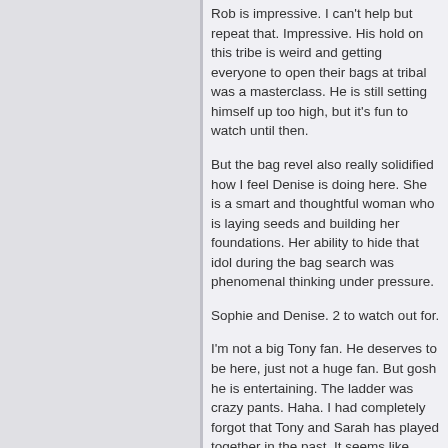Rob is impressive. I can't help but repeat that. Impressive. His hold on this tribe is weird and getting everyone to open their bags at tribal was a masterclass. He is still setting himself up too high, but it's fun to watch until then.
But the bag revel also really solidified how I feel Denise is doing here. She is a smart and thoughtful woman who is laying seeds and building her foundations. Her ability to hide that idol during the bag search was phenomenal thinking under pressure.
Sophie and Denise. 2 to watch out for.
I'm not a big Tony fan. He deserves to be here, just not a huge fan. But gosh he is entertaining. The ladder was crazy pants. Haha. I had completely forgot that Tony and Sarah has played together in the past. It seems like everyone else has as well. Could be great for both of them.
I'm hoping that the EOE doesn't provide too many advantages. It seems like there is a lot going around after just 3 eliminations.